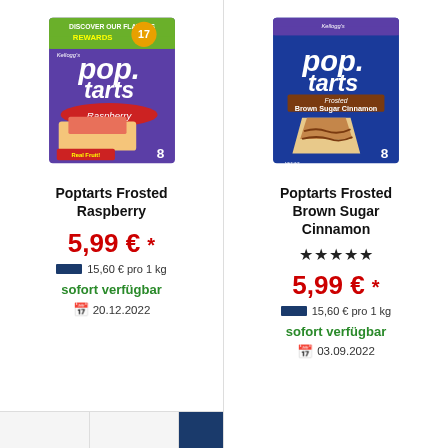[Figure (photo): Kellogg's Pop-Tarts Frosted Raspberry box, 8 count, with 'Discover our Flavors' rewards banner]
Poptarts Frosted Raspberry
5,99 € *
15,60 € pro 1 kg
sofort verfügbar
20.12.2022
[Figure (photo): Kellogg's Pop-Tarts Frosted Brown Sugar Cinnamon box, 8 count]
Poptarts Frosted Brown Sugar Cinnamon
★★★★★
5,99 € *
15,60 € pro 1 kg
sofort verfügbar
03.09.2022